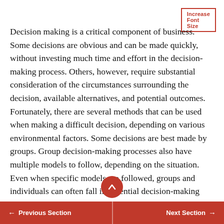Increase Font Size
Decision making is a critical component of business. Some decisions are obvious and can be made quickly, without investing much time and effort in the decision-making process. Others, however, require substantial consideration of the circumstances surrounding the decision, available alternatives, and potential outcomes. Fortunately, there are several methods that can be used when making a difficult decision, depending on various environmental factors. Some decisions are best made by groups. Group decision-making processes also have multiple models to follow, depending on the situation. Even when specific models are followed, groups and individuals can often fall in potential decision-making
← Previous Section    Next Section →